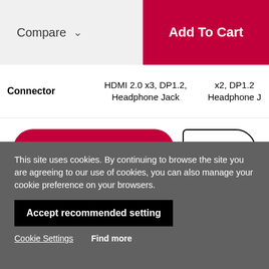Compare
Add To Cart
| Connector | HDMI 2.0 x3, DP1.2, Headphone Jack | x2, DP1.2 Headphone J |
| --- | --- | --- |
Back To Buy
Learn mor
This site uses cookies. By continuing to browse the site you are agreeing to our use of cookies, you can also manage your cookie preference on your browsers.
Accept recommended setting
Cookie Settings
Find more